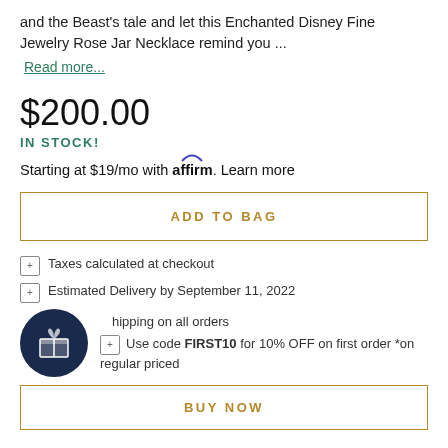and the Beast's tale and let this Enchanted Disney Fine Jewelry Rose Jar Necklace remind you ...
Read more...
$200.00
IN STOCK!
Starting at $19/mo with affirm. Learn more
ADD TO BAG
Taxes calculated at checkout
Estimated Delivery by September 11, 2022
shipping on all orders
Use code FIRST10 for 10% OFF on first order *on regular priced
BUY NOW